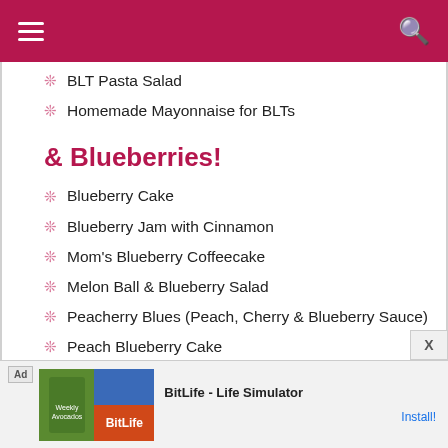Navigation header with hamburger menu and search icon
BLT Pasta Salad
Homemade Mayonnaise for BLTs
& Blueberries!
Blueberry Cake
Blueberry Jam with Cinnamon
Mom's Blueberry Coffeecake
Melon Ball & Blueberry Salad
Peacherry Blues (Peach, Cherry & Blueberry Sauce)
Peach Blueberry Cake
Raspberry (or Blueberry) Morning Cake
Rustic Blueberry Ice Cream
& Peaches!
[Figure (screenshot): Advertisement banner for BitLife - Life Simulator app with Ad label, app icon images, app name, and Install button]